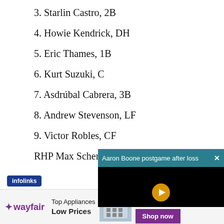3. Starlin Castro, 2B
4. Howie Kendrick, DH
5. Eric Thames, 1B
6. Kurt Suzuki, C
7. Asdrúbal Cabrera, 3B
8. Andrew Stevenson, LF
9. Victor Robles, CF
RHP Max Scherzer
[Figure (screenshot): Overlay video widget: 'Aaron Boone postgame after loss' with close button, black video area with play icon]
[Figure (screenshot): Infolinks badge in blue]
[Figure (screenshot): Wayfair advertisement: Top Appliances Low Prices, Save on best selling brands that live up to the hype, Shop now button]